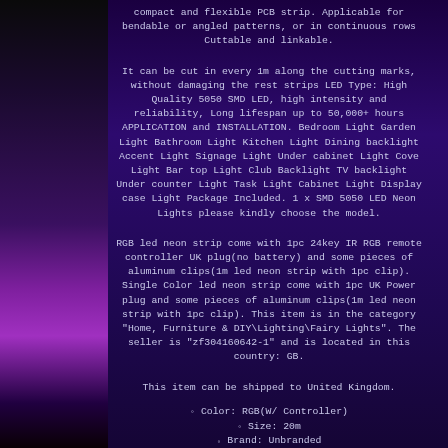compact and flexible PCB strip. Applicable for bendable or angled patterns, or in continuous rows Cuttable and linkable.
It can be cut in every 1m along the cutting marks, without damaging the rest strips LED Type: High Quality 5050 SMD LED, high intensity and reliability, Long lifespan up to 50,000+ hours APPLICATION and INSTALLATION. Bedroom Light Garden Light Bathroom Light Kitchen Light Dining backlight Accent Light Signage Light Under cabinet Light Cove Light Bar top Light Club Backlight TV backlight Under counter Light Task Light Cabinet Light Display case Light Package Included. 1 x SMD 5050 LED Neon Lights please kindly choose the model.
RGB led neon strip come with 1pc 24key IR RGB remote controller UK plug(no battery) and some pieces of aluminum clips(1m led neon strip with 1pc clip). Single Color led neon strip come with 1pc UK Power plug and some pieces of aluminum clips(1m led neon strip with 1pc clip). This item is in the category "Home, Furniture & DIY\Lighting\Fairy Lights". The seller is "zf304160642-1" and is located in this country: GB.
This item can be shipped to United Kingdom.
Color: RGB(W/ Controller)
Size: 20m
Brand: Unbranded